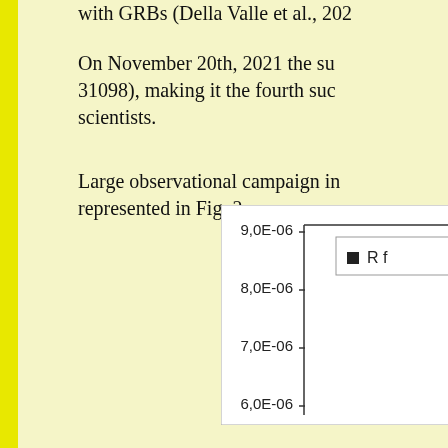with GRBs (Della Valle et al., 202…
On November 20th, 2021 the sup… 31098), making it the fourth succ… scientists.
Large observational campaign in… represented in Fig. 2.
[Figure (continuous-plot): Partial view of a light curve or flux vs time chart showing y-axis values from 6.0E-06 to 9.0E-06 with legend entry 'R f…']